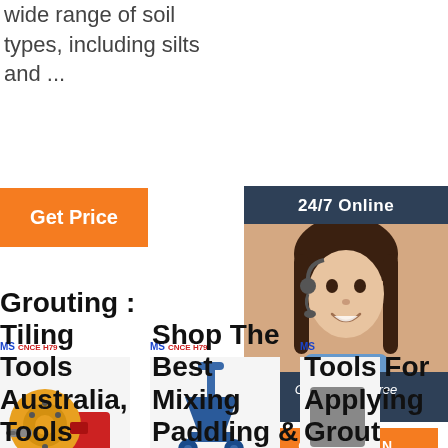wide range of soil types, including silts and ...
[Figure (other): Orange 'Get Price' button]
[Figure (other): 24/7 Online chat widget with agent photo and QUOTATION button]
[Figure (photo): Industrial grouting pump machine product image with MS CNCE H79 logo and CE certification marks]
[Figure (photo): Blue mixing/grouting tool product image with MS CNCE H79 logo and CE certification marks]
[Figure (photo): Partially visible product image with MS logo and CE certification marks]
Grouting : Tiling Tools Australia, Tools
Shop The Best Mixing Paddling &
Tools For Applying Grout